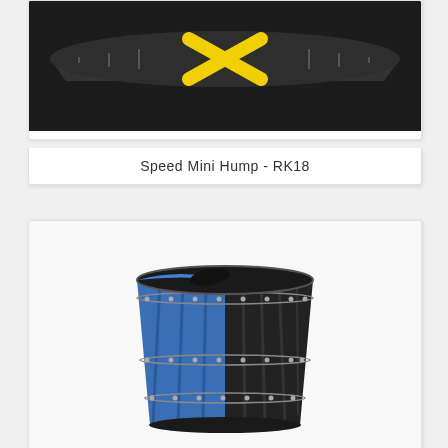[Figure (photo): Speed Mini Hump product - RK18, a black rubber speed hump with yellow markings, viewed from above against dark background]
Speed Mini Hump - RK18
[Figure (photo): Outdoor waste receptacle / trash can with vertical slats, half blue and half black, with an opening lid on top, shown on white background]